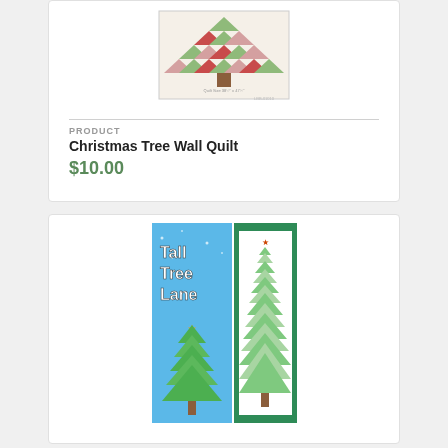[Figure (photo): Christmas Tree Wall Quilt product image showing a patchwork quilt with triangle pattern forming a Christmas tree in red, green, and pink fabrics]
PRODUCT
Christmas Tree Wall Quilt
$10.00
[Figure (photo): Tall Tree Lane quilt pattern cover showing two tall narrow Christmas tree quilts, one on blue background and one on white, with bold text 'Tall Tree Lane']